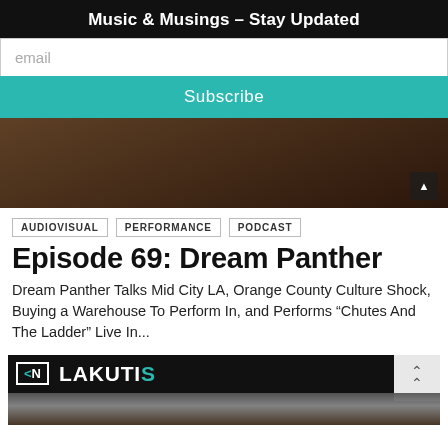Music & Musings – Stay Updated
email
Subscribe
[Figure (photo): Hero image showing a person in a white t-shirt near comic book posters, dark toned photo]
AUDIOVISUAL
PERFORMANCE
PODCAST
Episode 69: Dream Panther
Dream Panther Talks Mid City LA, Orange County Culture Shock, Buying a Warehouse To Perform In, and Performs “Chutes And The Ladder” Live In...
[Figure (logo): LAKUTIS logo with KN monogram in white border box on black background, teal colored K and S]